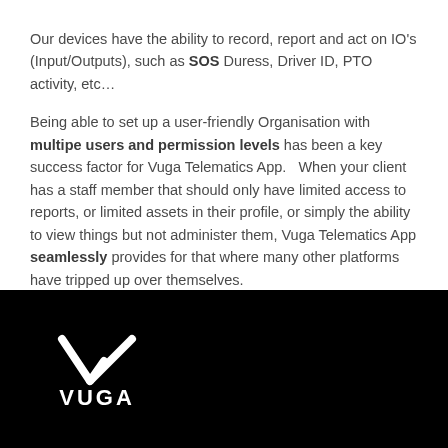Our devices have the ability to record, report and act on IO's (Input/Outputs), such as SOS Duress, Driver ID, PTO activity, etc...
Being able to set up a user-friendly Organisation with multipe users and permission levels has been a key success factor for Vuga Telematics App.   When your client has a staff member that should only have limited access to reports, or limited assets in their profile, or simply the ability to view things but not administer them, Vuga Telematics App seamlessly provides for that where many other platforms have tripped up over themselves.
[Figure (logo): Vuga company logo — white chevron/checkmark icon above the word VUGA in white bold letters on black background]